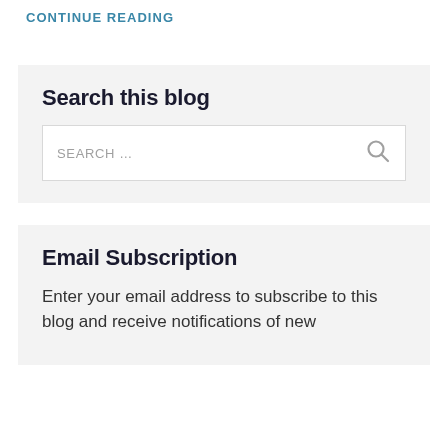CONTINUE READING
Search this blog
SEARCH ...
Email Subscription
Enter your email address to subscribe to this blog and receive notifications of new